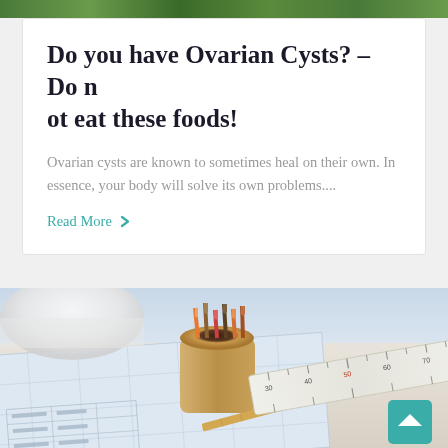[Figure (photo): Green foliage/nature image banner at the top of the page]
Do you have Ovarian Cysts? – Do not eat these foods!
Ovarian cysts are known to sometimes heal on their own. In essence, your body will solve its own problems....
Read More
[Figure (photo): Desk scene with blueprints/papers, a pencil cup holder filled with pencils, and a measuring tape/ruler spread across papers]